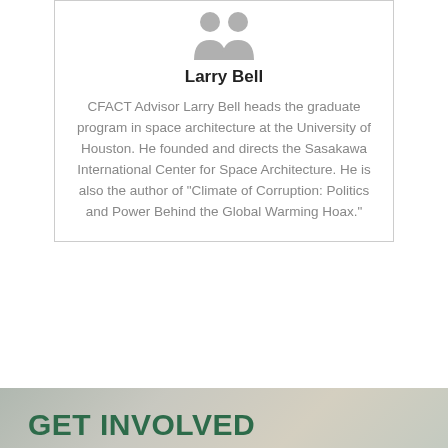[Figure (illustration): Greyed-out silhouette / placeholder avatar icon of a person]
Larry Bell
CFACT Advisor Larry Bell heads the graduate program in space architecture at the University of Houston. He founded and directs the Sasakawa International Center for Space Architecture. He is also the author of "Climate of Corruption: Politics and Power Behind the Global Warming Hoax."
GET INVOLVED
Donate Now